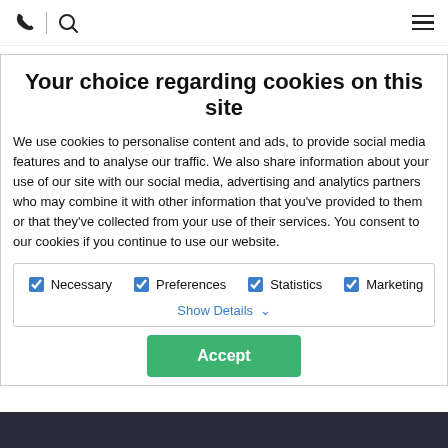Wolferstans Solicitors - navigation bar with phone, search, and menu icons
[Figure (logo): Wolferstans Solicitors logo with green and blue arrow shapes]
Your choice regarding cookies on this site
We use cookies to personalise content and ads, to provide social media features and to analyse our traffic. We also share information about your use of our site with our social media, advertising and analytics partners who may combine it with other information that you've provided to them or that they've collected from your use of their services. You consent to our cookies if you continue to use our website.
Necessary | Preferences | Statistics | Marketing | Show Details
Accept